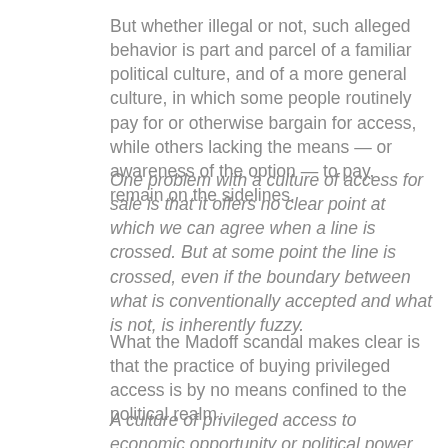But whether illegal or not, such alleged behavior is part and parcel of a familiar political culture, and of a more general culture, in which some people routinely pay for or otherwise bargain for access, while others lacking the means — or awareness of the option — to pay, remain on the sidelines.
One problem with a culture of access for sale is that it offers no clear point at which we can agree when a line is crossed. But at some point the line is crossed, even if the boundary between what is conventionally accepted and what is not, is inherently fuzzy.
What the Madoff scandal makes clear is that the practice of buying privileged access is by no means confined to the political realm.
A culture of privileged access to economic opportunity or political power or both will always